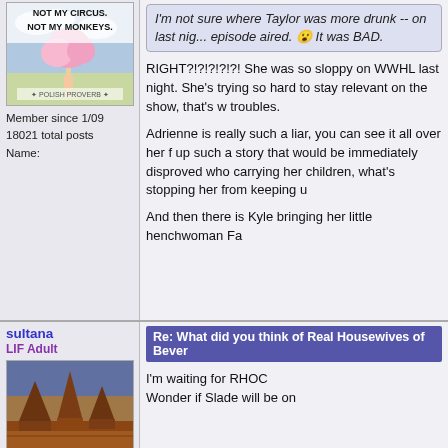[Figure (photo): Image with text NOT MY CIRCUS. NOT MY MONKEYS. with a Polish Proverb label and cotton candy graphic]
Member since 1/09
18021 total posts
Name:
I'm not sure where Taylor was more drunk -- on last night or the night the episode aired. 😮 It was BAD.
RIGHT?!?!?!?!?! She was so sloppy on WWHL last night. She's trying so hard to stay relevant on the show, that's w troubles.

Adrienne is really such a liar, you can see it all over her f up such a story that would be immediately disproved who carrying her children, what's stopping her from keeping u

And then there is Kyle bringing her little henchwoman Fa
sultana
LIF Adult
[Figure (photo): Photo of Monument Valley desert landscape with buttes]
Member since 5/09
1455 total posts
Name:
Bridget
Re: What did you think of Real Housewives of Bever
I'm waiting for RHOC
Wonder if Slade will be on